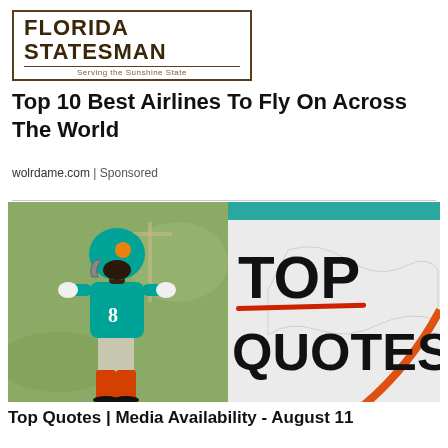FLORIDA STATESMAN - Serving the Sunshine State
Top 10 Best Airlines To Fly On Across The World
wolrdame.com | Sponsored
[Figure (photo): Split image: left side shows a Miami Dolphins football player wearing teal jersey number 8 at practice; right side shows a graphic with teal header bar and large bold text reading TOP QUOTES with a red underline and orange curve element]
Top Quotes | Media Availability - August 11